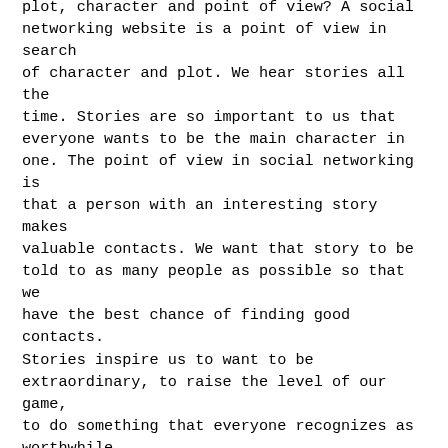plot, character and point of view? A social networking website is a point of view in search of character and plot. We hear stories all the time. Stories are so important to us that everyone wants to be the main character in one. The point of view in social networking is that a person with an interesting story makes valuable contacts. We want that story to be told to as many people as possible so that we have the best chance of finding good contacts. Stories inspire us to want to be extraordinary, to raise the level of our game, to do something that everyone recognizes as worthwhile.
A social networking site is a place where a person puts their best foot forward and shows us the character that they want to be. It is also a place where we explore the characters and stories of others. We search for people with common values and complimentary needs to enrich our story and theirs, or to reconnect